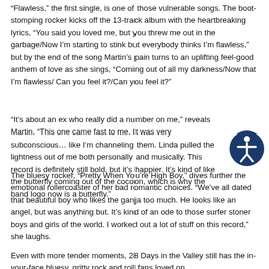“Flawless,” the first single, is one of those vulnerable songs. The boot-stomping rocker kicks off the 13-track album with the heartbreaking lyrics, “You said you loved me, but you threw me out in the garbage/Now I’m starting to stink but everybody thinks I’m flawless,” but by the end of the song Martin’s pain turns to an uplifting feel-good anthem of love as she sings, “Coming out of all my darkness/Now that I’m flawless/ Can you feel it?/Can you feel it?”
“It’s about an ex who really did a number on me,” reveals Martin. “This one came fast to me. It was very subconscious… like I’m channeling them. Linda pulled the lightness out of me both personally and musically. This record is definitely still bold, but it’s happier. It’s kind of like the butterfly coming out of the cocoon, which is why the band logo now is a butterfly.”
The bluesy rocker, “Pretty When You’re High Boy,” dives further the emotional rollercoaster of her bad romantic choices. “We’ve all dated that beautiful boy who likes the ganja too much. He looks like an angel, but was anything but. It’s kind of an ode to those surfer stoner boys and girls of the world. I worked out a lot of stuff on this record,” she laughs.
Even with more tender moments, 28 Days in the Valley still has the in-your-face bluesy, gritty rock and roll fans loved on